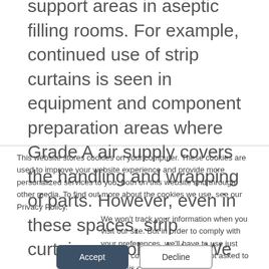support areas in aseptic filling rooms. For example, continued use of strip curtains is seen in equipment and component preparation areas where Grade A air supply covers the handling and wrapping of parts. However, even in these spaces, strip curtains are obsolete. We now have better tools to protect these environments. CRB has utilized computational
This website stores cookies on your computer. These cookies are used to improve your website experience and provide more personalized services to you, both on this website and through other media. To find out more about the cookies we use, see our Privacy Policy.
We won't track your information when you visit our site. But in order to comply with your preferences, we'll have to use just one tiny cookie so that you're not asked to make this choice again.
Accept | Decline